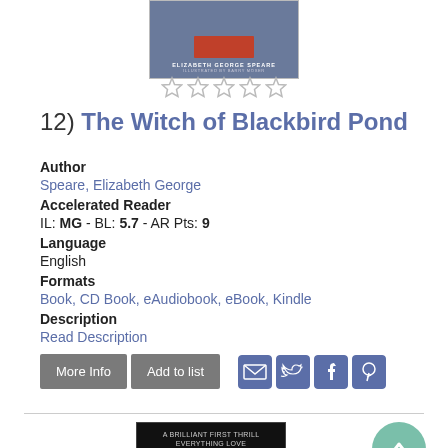[Figure (illustration): Book cover for The Witch of Blackbird Pond by Elizabeth George Speare, gray-blue cover with author name]
[Figure (other): Five empty star rating icons]
12) The Witch of Blackbird Pond
Author
Speare, Elizabeth George
Accelerated Reader
IL: MG - BL: 5.7 - AR Pts: 9
Language
English
Formats
Book, CD Book, eAudiobook, eBook, Kindle
Description
Read Description
[Figure (screenshot): More Info and Add to list buttons with social sharing icons (email, twitter, facebook, pinterest)]
[Figure (illustration): Book cover for Serpent - dark cover with gold snake lettering]
[Figure (other): Scroll to top button, teal circle with upward arrow]